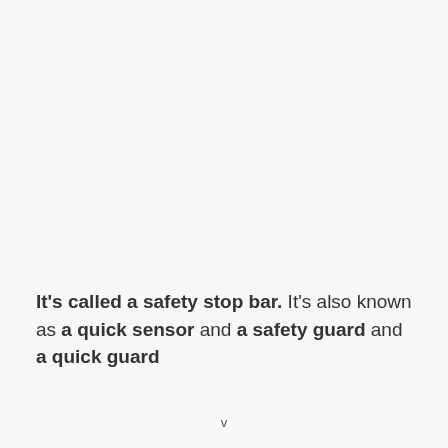It's called a safety stop bar. It's also known as a quick sensor and a safety guard and a quick guard
v